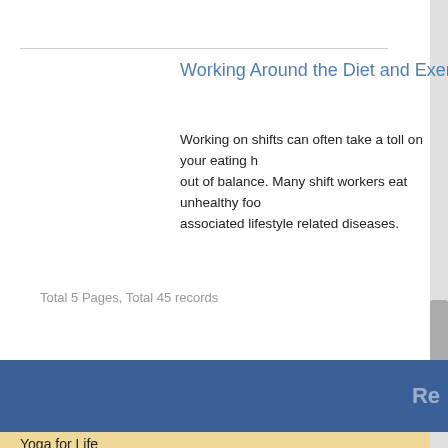Working Around the Diet and Exercise Challenges of Shift Work
Working on shifts can often take a toll on your eating habits and throw your body out of balance. Many shift workers eat unhealthy food and are at a risk of various associated lifestyle related diseases.
Total 5 Pages, Total 45 records
Yoga for Life
Working Around the Diet and Exercise Challenges of Shift Work
Reasons Not to Miss Exercise
Can Sitting Kill You?
Shift work and its impact on health